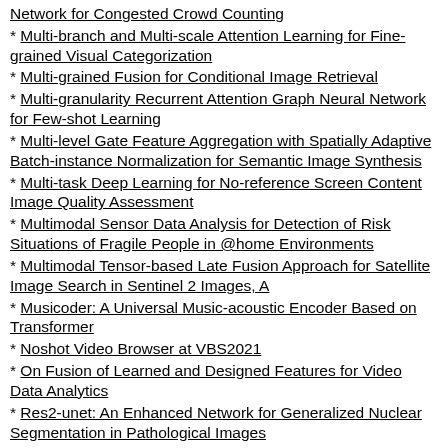Network for Congested Crowd Counting
* Multi-branch and Multi-scale Attention Learning for Fine-grained Visual Categorization
* Multi-grained Fusion for Conditional Image Retrieval
* Multi-granularity Recurrent Attention Graph Neural Network for Few-shot Learning
* Multi-level Gate Feature Aggregation with Spatially Adaptive Batch-instance Normalization for Semantic Image Synthesis
* Multi-task Deep Learning for No-reference Screen Content Image Quality Assessment
* Multimodal Sensor Data Analysis for Detection of Risk Situations of Fragile People in @home Environments
* Multimodal Tensor-based Late Fusion Approach for Satellite Image Search in Sentinel 2 Images, A
* Musicoder: A Universal Music-acoustic Encoder Based on Transformer
* Noshot Video Browser at VBS2021
* On Fusion of Learned and Designed Features for Video Data Analytics
* Res2-unet: An Enhanced Network for Generalized Nuclear Segmentation in Pathological Images
* Robust Multispectral Pedestrian Detection via Uncertainty-aware Cross-modal Learning
* Search and Explore Strategies for Interactive Analysis of